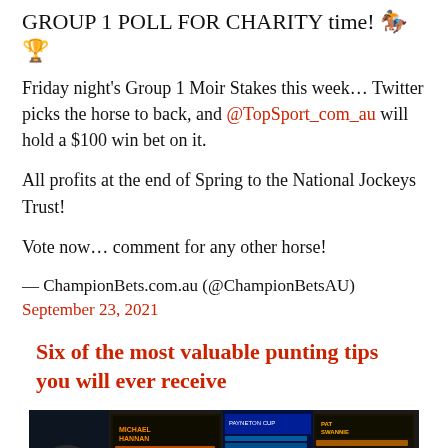GROUP 1 POLL FOR CHARITY time! 🏇🏆
Friday night's Group 1 Moir Stakes this week… Twitter picks the horse to back, and @TopSport_com_au will hold a $100 win bet on it.
All profits at the end of Spring to the National Jockeys Trust!
Vote now… comment for any other horse!
— ChampionBets.com.au (@ChampionBetsAU)
September 23, 2021
Six of the most valuable punting tips you will ever receive
[Figure (photo): Two people from behind looking at horse racing betting boards with odds displayed in orange and yellow LED lights.]